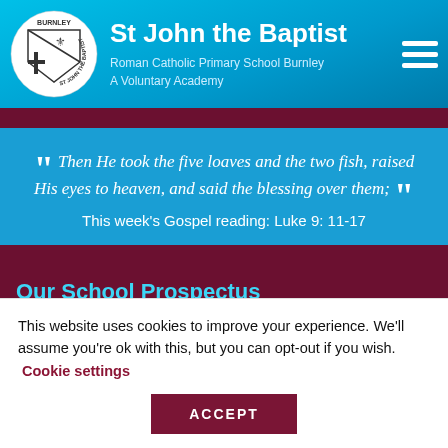[Figure (logo): St John the Baptist school shield/crest logo with cross and eagle, circular text reading ST JOHN THE BAPTIST, BURNLEY at top]
St John the Baptist
Roman Catholic Primary School Burnley
A Voluntary Academy
"Then He took the five loaves and the two fish, raised His eyes to heaven, and said the blessing over them;"
This week's Gospel reading: Luke 9: 11-17
Our School Prospectus
Information for prospective parents & carers for children
This website uses cookies to improve your experience. We'll assume you're ok with this, but you can opt-out if you wish.
Cookie settings
ACCEPT